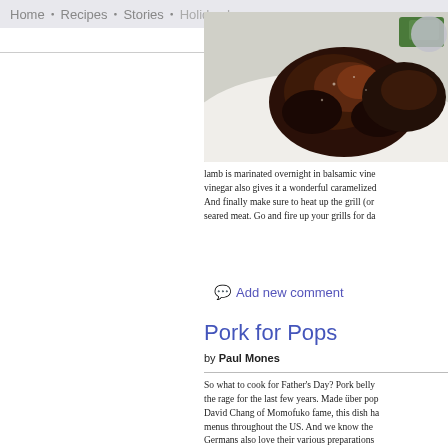Home  •  Recipes  •  Stories  •  Holiday Issues
[Figure (photo): Close-up photo of grilled or seared dark-crusted lamb chops on a white plate, with a green garnish visible in the background]
lamb is marinated overnight in balsamic vine... vinegar also gives it a wonderful caramelized... And finally make sure to heat up the grill (or... seared meat. Go and fire up your grills for da...
Add new comment
Pork for Pops
by Paul Mones
So what to cook for Father's Day? Pork belly... the rage for the last few years. Made über pop... David Chang of Momofuko fame, this dish ha... menus throughout the US. And we know the... Germans also love their various preparations...